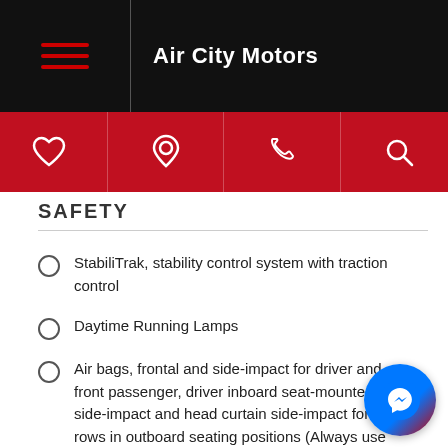Air City Motors
SAFETY
StabiliTrak, stability control system with traction control
Daytime Running Lamps
Air bags, frontal and side-impact for driver and front passenger, driver inboard seat-mounted side-impact and head curtain side-impact for all rows in outboard seating positions (Always use safety belts and the correct child restraints. Children are safer when properly secured in a rear seat in the appropriate child restraint. See the Owner's Manual for more information.)
Air bags, front passenger air bag suppression (Always use safety belts and the correct child restraints. Children are safer when properly secured in a rear seat in the appropriate child restraint. See the Owner's Manual for more information.)